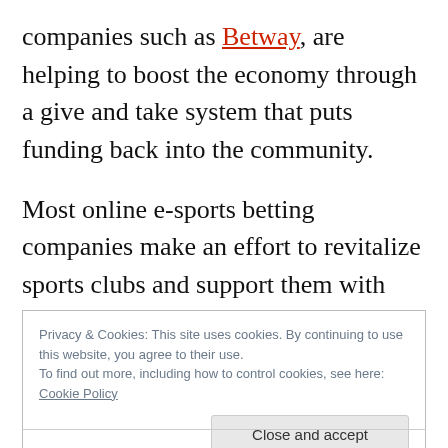companies such as Betway, are helping to boost the economy through a give and take system that puts funding back into the community.
Most online e-sports betting companies make an effort to revitalize sports clubs and support them with generous donations when business is up.
Privacy & Cookies: This site uses cookies. By continuing to use this website, you agree to their use. To find out more, including how to control cookies, see here: Cookie Policy